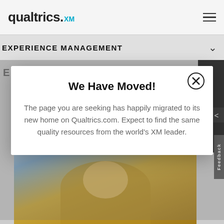qualtrics XM
EXPERIENCE MANAGEMENT
[Figure (screenshot): Background page content partially visible behind modal overlay, showing partial letter E and a photo of a person in a yellow/mustard sweater covering their mouth with their hands]
We Have Moved!
The page you are seeking has happily migrated to its new home on Qualtrics.com. Expect to find the same quality resources from the world's XM leader.